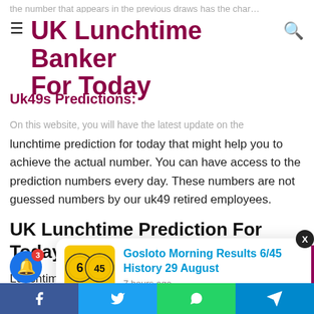The number that appears in the previous draws has the chan…
UK Lunchtime Banker For Today
Uk49s Predictions:
On this website, you will have the latest update on the lunchtime prediction for today that might help you to achieve the actual number. You can have access to the prediction numbers every day. These numbers are not guessed numbers by our uk49 retired employees.
UK Lunchtime Prediction For Today:
Lunchtime prediction is for those who are searching for lunchtime numbers and participating in th…
[Figure (other): Popup notification card with lottery balls image showing '6 45' and link 'Gosloto Morning Results 6/45 History 29 August', timestamped '7 hours ago']